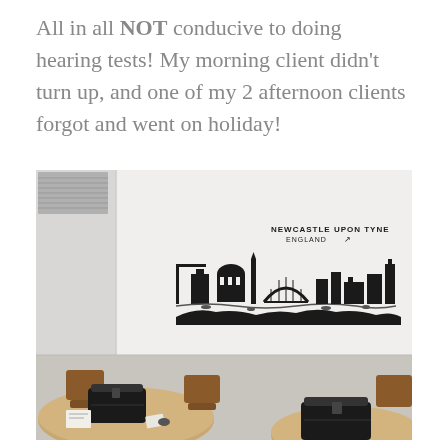All in all NOT conducive to doing hearing tests! My morning client didn't turn up, and one of my 2 afternoon clients forgot and went on holiday!
[Figure (photo): A meeting room with white walls, round wooden tables, brown chairs, and a black bag on one table. On the wall is a black silhouette skyline decal reading 'NEWCASTLE UPON TYNE ENGLAND' with an arrow.]